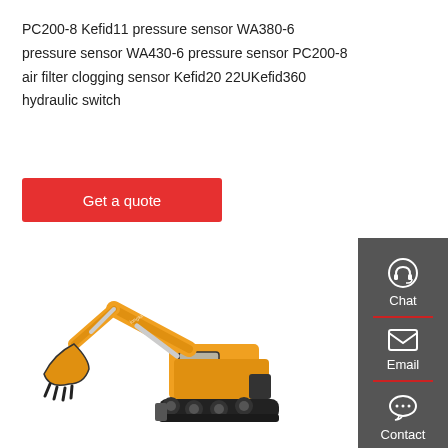PC200-8 Kefid11 pressure sensor WA380-6 pressure sensor WA430-6 pressure sensor PC200-8 air filter clogging sensor Kefid20 22UKefid360 hydraulic switch
[Figure (other): Red 'Get a quote' button]
[Figure (illustration): Orange excavator / construction machine illustration]
[Figure (infographic): Dark grey sidebar with Chat (headset icon), Email (envelope icon), and Contact (speech bubble icon) options]